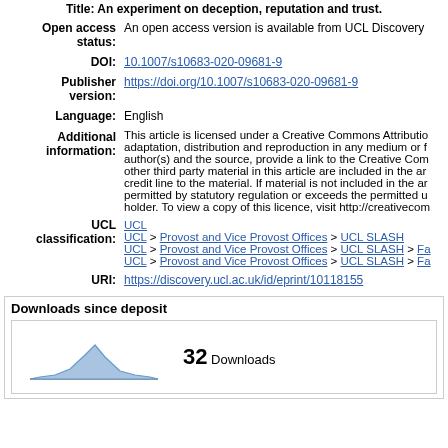Title: An experiment on deception, reputation and trust
| Field | Value |
| --- | --- |
| Open access status: | An open access version is available from UCL Discovery |
| DOI: | 10.1007/s10683-020-09681-9 |
| Publisher version: | https://doi.org/10.1007/s10683-020-09681-9 |
| Language: | English |
| Additional information: | This article is licensed under a Creative Commons Attribution adaptation, distribution and reproduction in any medium or f author(s) and the source, provide a link to the Creative Com other third party material in this article are included in the ar credit line to the material. If material is not included in the ar permitted by statutory regulation or exceeds the permitted u holder. To view a copy of this licence, visit http://creativecom |
| UCL classification: | UCL
UCL > Provost and Vice Provost Offices > UCL SLASH
UCL > Provost and Vice Provost Offices > UCL SLASH > Fa
UCL > Provost and Vice Provost Offices > UCL SLASH > Fa |
| URI: | https://discovery.ucl.ac.uk/id/eprint/10118155 |
Downloads since deposit
[Figure (area-chart): Small area chart showing download history over time with a light blue filled area and a peak in the middle]
32 Downloads